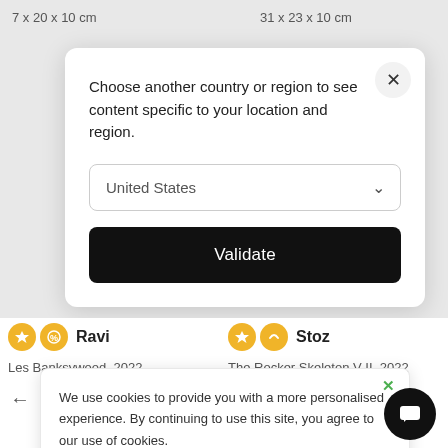7 x 20 x 10 cm
31 x 23 x 10 cm
[Figure (screenshot): Country/region selection modal dialog with close button, dropdown set to 'United States', and a black 'Validate' button]
Ravi
Stoz
Les Banksywood, 2022
The Rocker Skeleton V II, 2022
[Figure (screenshot): Cookie consent banner reading: 'We use cookies to provide you with a more personalised experience. By continuing to use this site, you agree to our use of cookies. Find out more']